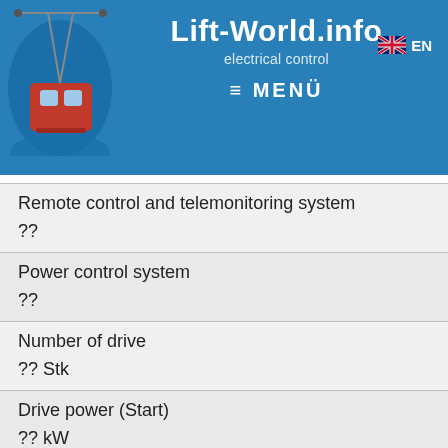Lift-World.info | electrical control | ≡ MENÜ | EN
| Field | Value |
| --- | --- |
| Remote control and telemonitoring system | ?? |
| Power control system | ?? |
| Number of drive | ?? Stk |
| Drive power (Start) | ?? kW |
| Drive power (Operation) | 840 kW |
| Brake power | ?? kW |